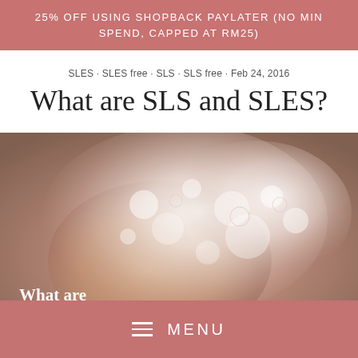25% OFF USING SHOPBACK PAYLATER (NO MIN SPEND, CAPPED AT RM25)
SLES · SLES free · SLS · SLS free · Feb 24, 2016
What are SLS and SLES?
[Figure (photo): Hands covered in soap foam/lather with overlay text reading 'What are SLS and']
MENU